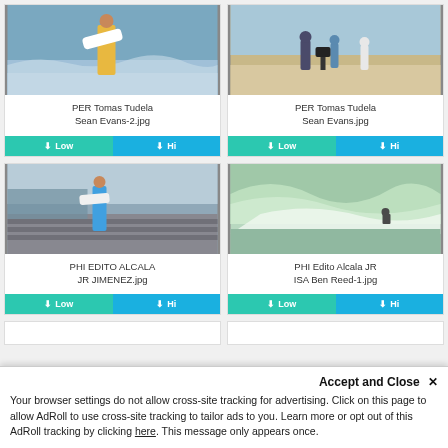[Figure (photo): Surfer carrying board on beach - PER Tomas Tudela Sean Evans-2.jpg]
PER Tomas Tudela Sean Evans-2.jpg
[Figure (photo): People on beach with camera equipment - PER Tomas Tudela Sean Evans.jpg]
PER Tomas Tudela Sean Evans.jpg
[Figure (photo): Surfer with board running up stairs with crowd - PHI EDITO ALCALA JR JIMENEZ.jpg]
PHI EDITO ALCALA JR JIMENEZ.jpg
[Figure (photo): Surfer riding large wave - PHI Edito Alcala JR ISA Ben Reed-1.jpg]
PHI Edito Alcala JR ISA Ben Reed-1.jpg
Your browser settings do not allow cross-site tracking for advertising. Click on this page to allow AdRoll to use cross-site tracking to tailor ads to you. Learn more or opt out of this AdRoll tracking by clicking here. This message only appears once.